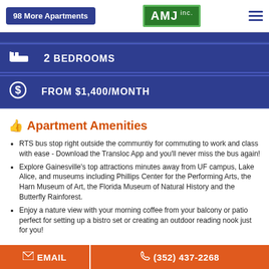98 More Apartments | AMJ inc. | [menu]
2 BEDROOMS
FROM $1,400/MONTH
Apartment Amenities
RTS bus stop right outside the communtiy for commuting to work and class with ease - Download the Transloc App and you'll never miss the bus again!
Explore Gainesville's top attractions minutes away from UF campus, Lake Alice, and museums including Phillips Center for the Performing Arts, the Harn Museum of Art, the Florida Museum of Natural History and the Butterfly Rainforest.
Enjoy a nature view with your morning coffee from your balcony or patio perfect for setting up a bistro set or creating an outdoor reading nook just for you!
EMAIL | (352) 437-2268